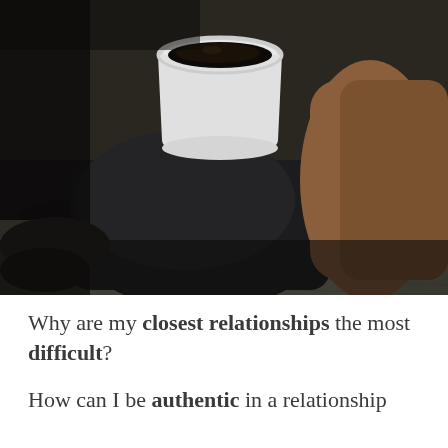[Figure (photo): Close-up photo of someone holding a white coffee mug with dark coffee inside, wearing dark clothing, sitting on a textured gray surface. The image is dark and moody in tone.]
Why are my closest relationships the most difficult?
How can I be authentic in a relationship